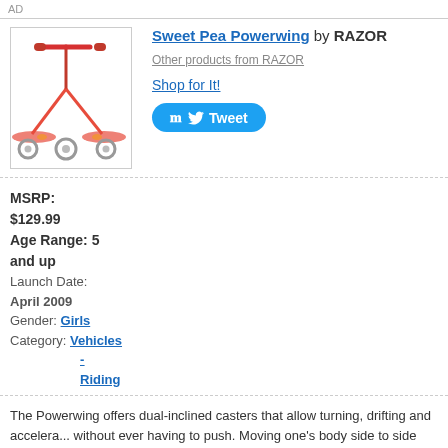AD
[Figure (photo): Pink Razor Sweet Pea Powerwing scooter with three wheels and pink handlebars on white background]
Sweet Pea Powerwing by RAZOR
Other products from RAZOR
Shop for It!
Tweet
MSRP: $129.99
Age Range: 5 and up
Launch Date: April 2009
Gender: Girls
Category: Vehicles - Riding
The Powerwing offers dual-inclined casters that allow turning, drifting and accelera... without ever having to push. Moving one's body side to side provides the moment... The three wheels give the Powerwing stability. Launch date: Spring 2009.
ToyDirectory Product ID#: 19623    (added 7/1/2008)